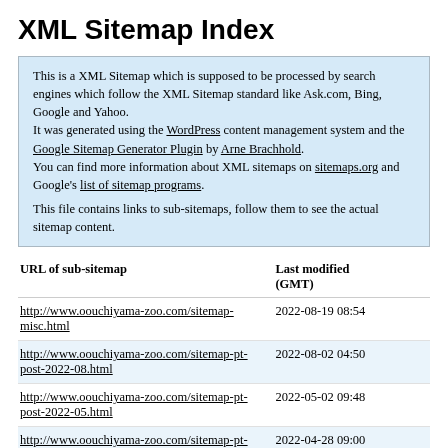XML Sitemap Index
This is a XML Sitemap which is supposed to be processed by search engines which follow the XML Sitemap standard like Ask.com, Bing, Google and Yahoo.
It was generated using the WordPress content management system and the Google Sitemap Generator Plugin by Arne Brachhold.
You can find more information about XML sitemaps on sitemaps.org and Google's list of sitemap programs.

This file contains links to sub-sitemaps, follow them to see the actual sitemap content.
| URL of sub-sitemap | Last modified (GMT) |
| --- | --- |
| http://www.oouchiyama-zoo.com/sitemap-misc.html | 2022-08-19 08:54 |
| http://www.oouchiyama-zoo.com/sitemap-pt-post-2022-08.html | 2022-08-02 04:50 |
| http://www.oouchiyama-zoo.com/sitemap-pt-post-2022-05.html | 2022-05-02 09:48 |
| http://www.oouchiyama-zoo.com/sitemap-pt-post-2022-04.html | 2022-04-28 09:00 |